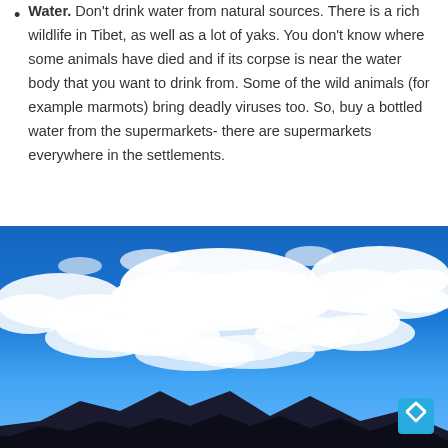Water. Don't drink water from natural sources. There is a rich wildlife in Tibet, as well as a lot of yaks. You don't know where some animals have died and if its corpse is near the water body that you want to drink from. Some of the wild animals (for example marmots) bring deadly viruses too. So, buy a bottled water from the supermarkets- there are supermarkets everywhere in the settlements.
[Figure (photo): Photograph of a blue sky with large white clouds over dark mountain silhouettes visible at the bottom of the frame. A blue back-to-top button with a chevron-up icon is overlaid in the bottom-right corner.]